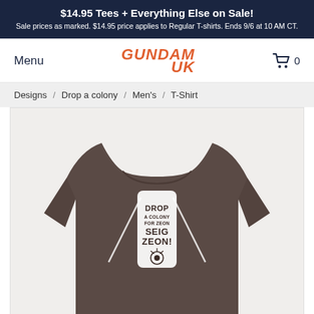$14.95 Tees + Everything Else on Sale! Sale prices as marked. $14.95 price applies to Regular T-shirts. Ends 9/6 at 10 AM CT.
Menu
[Figure (logo): GUNDAM UK logo in orange italic script]
[Figure (other): Shopping cart icon with count 0]
Designs / Drop a colony / Men's / T-Shirt
[Figure (photo): Brown/charcoal heather t-shirt with 'DROP A COLONY FOR ZEON SEIG ZEON!' graphic design featuring colony drop imagery and Zeon emblem]